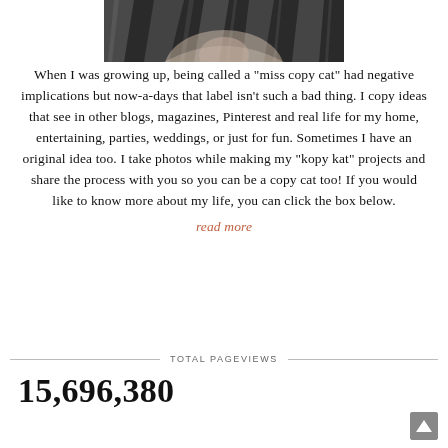[Figure (photo): Partial photo of a person wearing a black and white patterned top, showing neck/chest area only]
When I was growing up, being called a "miss copy cat" had negative implications but now-a-days that label isn't such a bad thing. I copy ideas that see in other blogs, magazines, Pinterest and real life for my home, entertaining, parties, weddings, or just for fun. Sometimes I have an original idea too. I take photos while making my "kopy kat" projects and share the process with you so you can be a copy cat too! If you would like to know more about my life, you can click the box below.
read more
TOTAL PAGEVIEWS
15,696,380